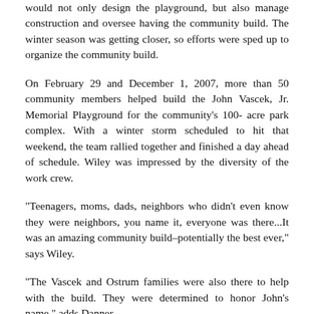would not only design the playground, but also manage construction and oversee having the community build. The winter season was getting closer, so efforts were sped up to organize the community build.
On February 29 and December 1, 2007, more than 50 community members helped build the John Vascek, Jr. Memorial Playground for the community's 100- acre park complex. With a winter storm scheduled to hit that weekend, the team rallied together and finished a day ahead of schedule. Wiley was impressed by the diversity of the work crew.
"Teenagers, moms, dads, neighbors who didn't even know they were neighbors, you name it, everyone was there...It was an amazing community build–potentially the best ever," says Wiley.
"The Vascek and Ostrum families were also there to help with the build. They were determined to honor John's name," adds Danner.
To learn more about playground equipment manufacturer Evos, contact General Recreation 800-726-4793 or sales@gen-